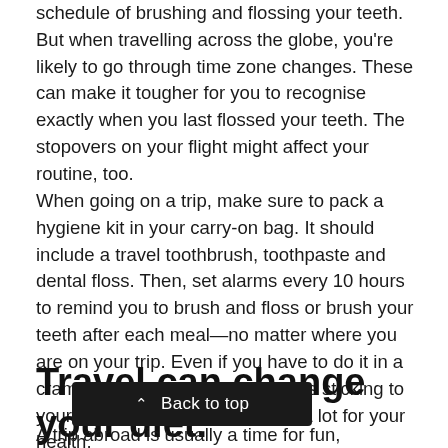schedule of brushing and flossing your teeth. But when travelling across the globe, you're likely to go through time zone changes. These can make it tougher for you to recognise exactly when you last flossed your teeth. The stopovers on your flight might affect your routine, too.
When going on a trip, make sure to pack a hygiene kit in your carry-on bag. It should include a travel toothbrush, toothpaste and dental floss. Then, set alarms every 10 hours to remind you to brush and floss or brush your teeth after each meal—no matter where you are on your trip. Even if you have to do it in a cramped plane bathroom, do it, as sticking to your dental care routine matters a lot for your health.
Travel can change your diet.
A trip abroad is usually a time for fun, celebration and